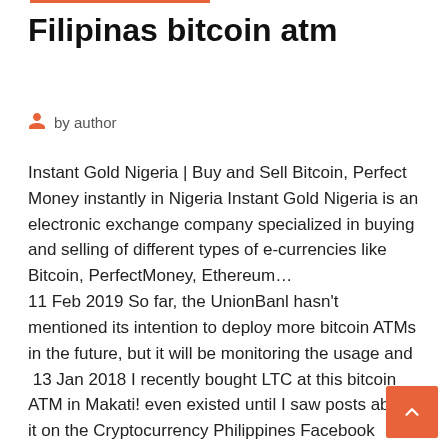Filipinas bitcoin atm
by author
Instant Gold Nigeria | Buy and Sell Bitcoin, Perfect Money instantly in Nigeria Instant Gold Nigeria is an electronic exchange company specialized in buying and selling of different types of e-currencies like Bitcoin, PerfectMoney, Ethereum… 11 Feb 2019 So far, the UnionBanl hasn't mentioned its intention to deploy more bitcoin ATMs in the future, but it will be monitoring the usage and  13 Jan 2018 I recently bought LTC at this bitcoin ATM in Makati! even existed until I saw posts about it on the Cryptocurrency Philippines Facebook group. 13 Feb 2019 Bitcoin ATM Manila. Bitcoin machines are on the rise worldwide. Currently, these devices are in 76 countries and now the Philippines have  20+ best ways to buy bitcoin in Philippines. Complete directory of exchanges, brokers, and ATMs. Bitcoin ATM Philippines. 5594 likes · 8 talking about this.